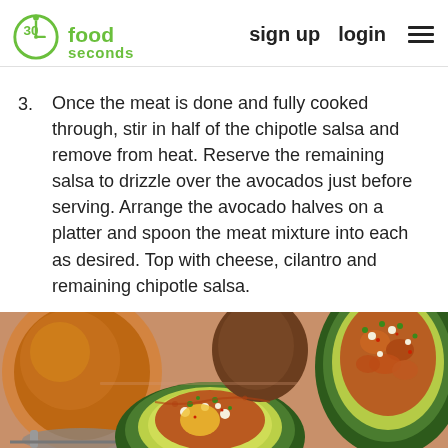30 seconds food — sign up   login   ≡
3. Once the meat is done and fully cooked through, stir in half of the chipotle salsa and remove from heat. Reserve the remaining salsa to drizzle over the avocados just before serving. Arrange the avocado halves on a platter and spoon the meat mixture into each as desired. Top with cheese, cilantro and remaining chipotle salsa.
[Figure (photo): Overhead close-up photo of stuffed avocado halves filled with spiced meat and topped with cheese and cilantro, alongside a jar of chipotle salsa and a whole avocado on a terracotta-colored surface.]